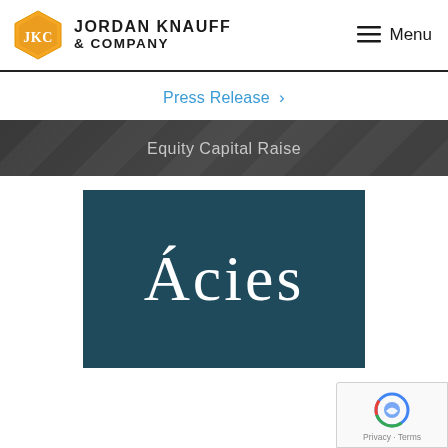[Figure (logo): Jordan Knauff & Company logo — hexagon with JKC initials in gold/amber, company name in bold sans-serif to the right]
Menu
Press Release ›
Equity Capital Raise
[Figure (logo): Ácies company logo — white stylized Á followed by 'cies' text on dark teal/navy background]
[Figure (other): reCAPTCHA badge with Privacy and Terms links in bottom right corner]